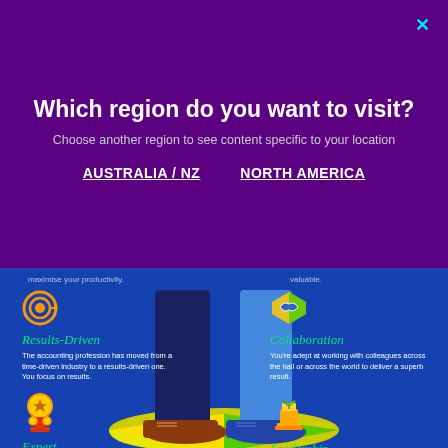Which region do you want to visit?
Choose another region to see content specific to your location
AUSTRALIA / NZ
NORTH AMERICA
[Figure (infographic): Infographic showing two suited figures standing on a colorful floor with four icons: Results-Driven (target icon), Collaboration (handshake icon), Expert (medal icon), Leadership (podium icon)]
Results-Driven
The accounting profession has moved from a time-driven industry to a results-driven one. You focus on results.
Collaboration
You're adept at working with colleagues across the hall or across the world to deliver a superb result.
Expert
Your strong subject-matter expertise allows you to provide accurate, relevant and valuable advice to clients.
Leadership
You're able to lead and inspire your colleagues with your insight, experience and innovation.